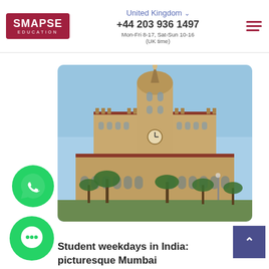SMAPSE EDUCATION | United Kingdom | +44 203 936 1497 | Mon-Fri 8-17, Sat-Sun 10-16 (UK time)
[Figure (photo): Photograph of a grand Victorian Gothic building (Chhatrapati Shivaji Maharaj Terminus, Mumbai) with ornate stonework, a central dome with a statue, clock tower, arched galleries, and palm trees in the foreground under a blue sky.]
[Figure (logo): WhatsApp green circle icon with phone handset symbol]
[Figure (logo): Green circle chat bubble icon]
Student weekdays in India: picturesque Mumbai